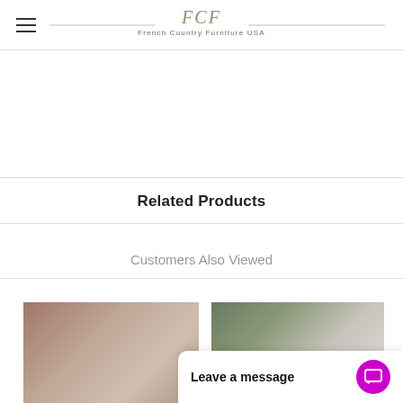FCF French Country Furniture USA
Related Products
Customers Also Viewed
[Figure (photo): Photo of French country style dining set with white chairs around a round table in a room with floral wallpaper]
[Figure (photo): Photo of outdoor white furniture set with chairs and table in a garden or patio setting]
Leave a message